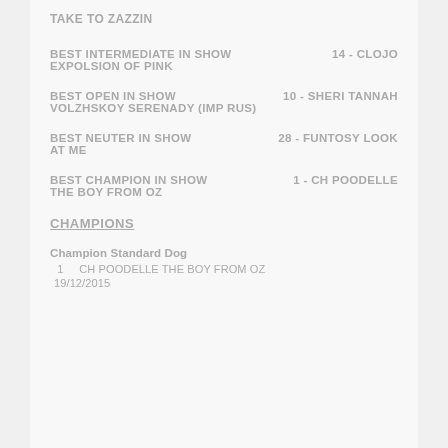TAKE TO ZAZZIN
BEST INTERMEDIATE IN SHOW    14 - CLOJO EXPOLSION OF PINK
BEST OPEN IN SHOW    10 - SHERI TANNAH VOLZHSKOY SERENADY (IMP RUS)
BEST NEUTER IN SHOW    28 - FUNTOSY LOOK AT ME
BEST CHAMPION IN SHOW    1 - CH POODELLE THE BOY FROM OZ
CHAMPIONS
Champion Standard Dog
1    CH POODELLE THE BOY FROM OZ
19/12/2015